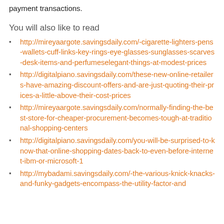payment transactions.
You will also like to read
http://mireyaargote.savingsdaily.com/-cigarette-lighters-pens-wallets-cuff-links-key-rings-eye-glasses-sunglasses-scarves-desk-items-and-perfumeselegant-things-at-modest-prices
http://digitalpiano.savingsdaily.com/these-new-online-retailers-have-amazing-discount-offers-and-are-just-quoting-their-prices-a-little-above-their-cost-prices
http://mireyaargote.savingsdaily.com/normally-finding-the-best-store-for-cheaper-procurement-becomes-tough-at-traditional-shopping-centers
http://digitalpiano.savingsdaily.com/you-will-be-surprised-to-know-that-online-shopping-dates-back-to-even-before-internet-ibm-or-microsoft-1
http://mybadami.savingsdaily.com/-the-various-knick-knacks-and-funky-gadgets-encompass-the-utility-factor-and